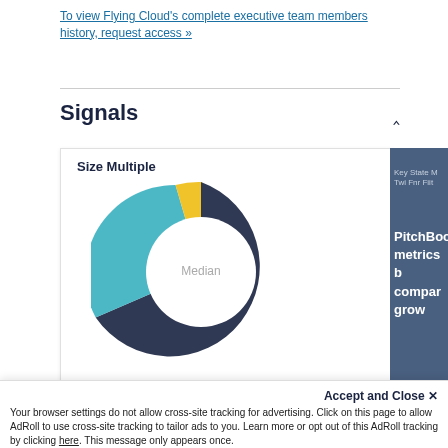To view Flying Cloud's complete executive team members history, request access »
Signals
[Figure (donut-chart): A donut chart labeled 'Size Multiple' with a center label 'Median'. The chart has segments in dark navy (large), teal/cyan (medium), and yellow (small).]
Weekly Growth
PitchBoo metrics b compar grow
Accept and Close ✕
Your browser settings do not allow cross-site tracking for advertising. Click on this page to allow AdRoll to use cross-site tracking to tailor ads to you. Learn more or opt out of this AdRoll tracking by clicking here. This message only appears once.